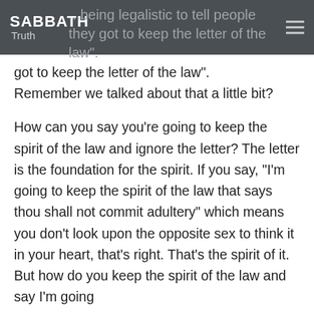SABBATH Truth
...being legalistic to tell people they got to keep the letter of the law". Remember we talked about that a little bit?
How can you say you're going to keep the spirit of the law and ignore the letter? The letter is the foundation for the spirit. If you say, "I'm going to keep the spirit of the law that says thou shall not commit adultery" which means you don't look upon the opposite sex to think it in your heart, that's right. That's the spirit of it. But how do you keep the spirit of the law and say I'm going...